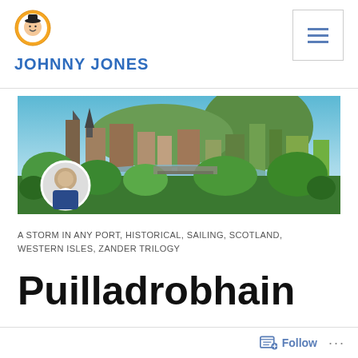[Figure (logo): Johnny Jones blog logo — cartoon character in hat inside orange circle]
JOHNNY JONES
[Figure (photo): Panoramic aerial view of Edinburgh cityscape with castle, spires, greenery, and a river, with a circular inset portrait of an older man in the lower left corner]
A STORM IN ANY PORT, HISTORICAL, SAILING, SCOTLAND, WESTERN ISLES, ZANDER TRILOGY
Puilladrobhain